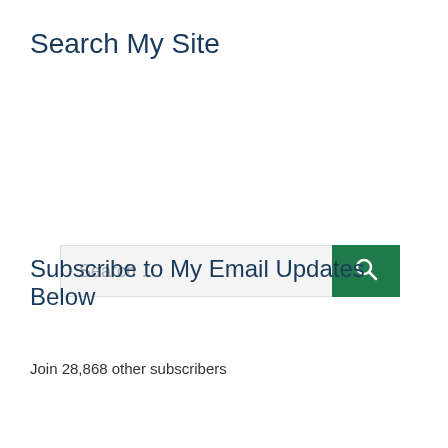Search My Site
[Figure (screenshot): Search input field with placeholder text 'Search ...' and a green search button with a magnifying glass icon]
Subscribe to My Email Updates Below
Join 28,868 other subscribers
[Figure (screenshot): Email address input field with placeholder text 'Email Address']